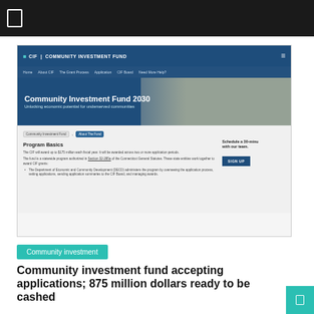[Figure (screenshot): Screenshot of a government website top navigation bar with dark/black background and a white rectangle icon]
[Figure (screenshot): Screenshot of the Connecticut Community Investment Fund 2030 website showing the site header with logo and navigation, a hero banner with text 'Community Investment Fund 2030 - Unlocking economic potential for underserved communities' with construction workers in background, breadcrumb navigation, Program Basics section with text about the CIF awarding up to $175 million each fiscal year, and a Schedule a 30-minute meeting sidebar with SIGN UP button]
Community investment
Community investment fund accepting applications; 875 million dollars ready to be cashed